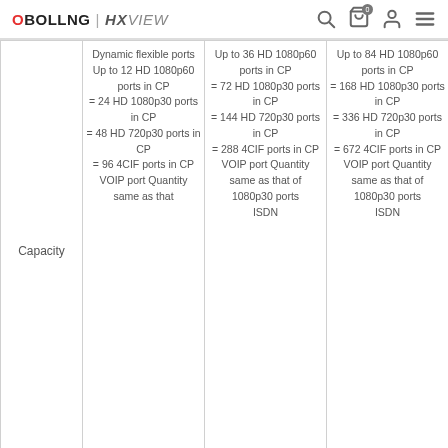OBOLLNG | HXVIEW
|  |  | Up to 36 HD 1080p60 ports in CP = 72 HD 1080p30 ports in CP = 144 HD 720p30 ports in CP = 288 4CIF ports in CP VOIP port Quantity same as that of 1080p30 ports ISDN | Up to 84 HD 1080p60 ports in CP = 168 HD 1080p30 ports in CP = 336 HD 720p30 ports in CP = 672 4CIF ports in CP VOIP port Quantity same as that of 1080p30 ports ISDN |
| --- | --- | --- | --- |
| Capacity | Dynamic flexible ports Up to 12 HD 1080p60 ports in CP = 24 HD 1080p30 ports in CP = 48 HD 720p30 ports in CP = 96 4CIF ports in CP VOIP port Quantity same as that |  |  |